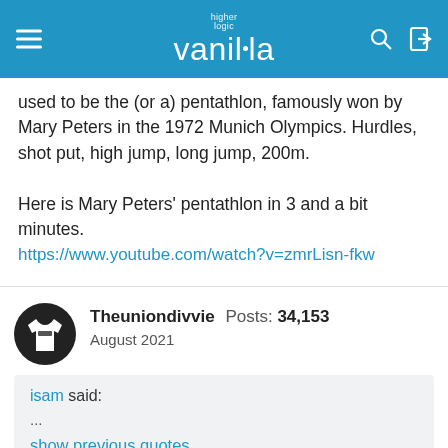higher logic vanilla
used to be the (or a) pentathlon, famously won by Mary Peters in the 1972 Munich Olympics. Hurdles, shot put, high jump, long jump, 200m.

Here is Mary Peters' pentathlon in 3 and a bit minutes.
https://www.youtube.com/watch?v=zmrLisn-fkw
Theuniondivvie  Posts: 34,153  August 2021
isam said:
...
show previous quotes
What this policewoman tweeted was probably 50 times worse than what Ollie Robinson did, and